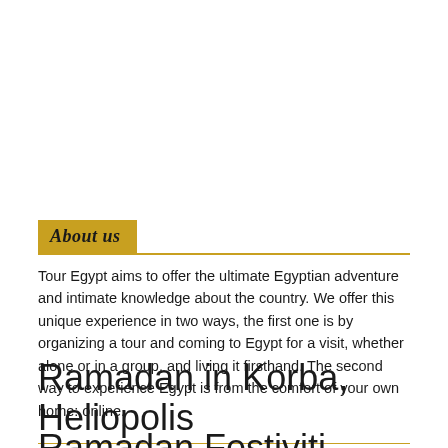About us
Tour Egypt aims to offer the ultimate Egyptian adventure and intimate knowledge about the country. We offer this unique experience in two ways, the first one is by organizing a tour and coming to Egypt for a visit, whether alone or in a group, and living it firsthand. The second way to experience Egypt is from the comfort of your own home: online.
Ramadan in Korba, Heliopolis
Ramadan Festiviti...